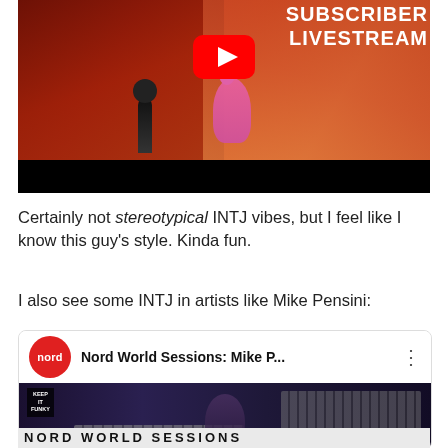[Figure (screenshot): YouTube video thumbnail showing a man singing into a microphone and holding a pink flamingo plush toy, with red/orange stage lighting background. Text overlay reads 'SUBSCRIBER LIVESTREAM'. YouTube play button visible.]
Certainly not stereotypical INTJ vibes, but I feel like I know this guy's style. Kinda fun.
I also see some INTJ in artists like Mike Pensini:
[Figure (screenshot): YouTube video thumbnail for 'Nord World Sessions: Mike P...' showing a music studio with keyboards and synthesizers. Nord logo (red circle with 'nord' text) in top left corner.]